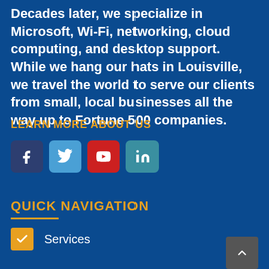Decades later, we specialize in Microsoft, Wi-Fi, networking, cloud computing, and desktop support. While we hang our hats in Louisville, we travel the world to serve our clients from small, local businesses all the way up to Fortune 500 companies.
LEARN MORE ABOUT US
[Figure (infographic): Four social media icon buttons: Facebook (dark blue), Twitter (light blue), YouTube (red), LinkedIn (teal)]
QUICK NAVIGATION
Services